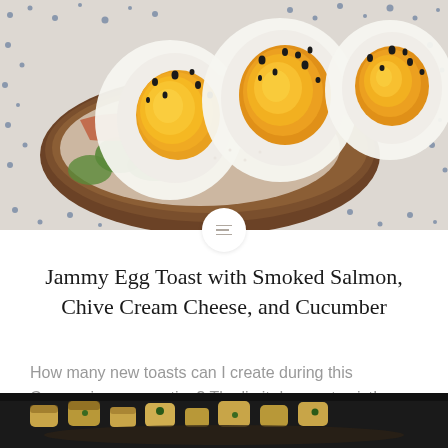[Figure (photo): Overhead photo of jammy egg toast with smoked salmon, cream cheese and cucumber on a patterned blue and white plate, with soft-boiled egg halves showing orange yolks, sprinkled with black sesame seeds]
Jammy Egg Toast with Smoked Salmon, Chive Cream Cheese, and Cucumber
How many new toasts can I create during this Coronavirus quarantine? The limit does not exist!
[Figure (photo): Partial bottom photo showing a dark dish with roasted potatoes and vegetables]